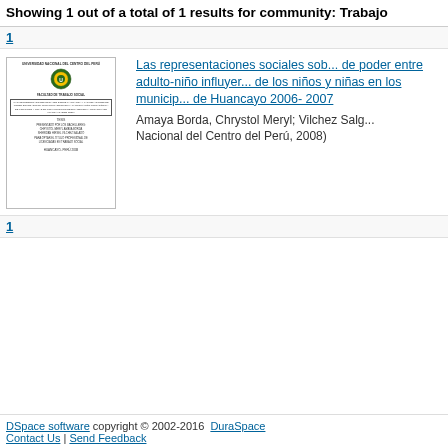Showing 1 out of a total of 1 results for community: Trabaj...
1
[Figure (other): Thumbnail of thesis document cover from Universidad Nacional del Centro del Perú, Facultad de Trabajo Social]
Las representaciones sociales sobre la infancia y las relaciones de poder entre adulto-niño influyeron en la participación protagónica de los niños y niñas en los municipios escolares de la Provincia de Huancayo 2006- 2007
Amaya Borda, Chrystol Meryl; Vilchez Salg...
Nacional del Centro del Perú, 2008)
1
DSpace software copyright © 2002-2016  DuraSpace | Contact Us | Send Feedback